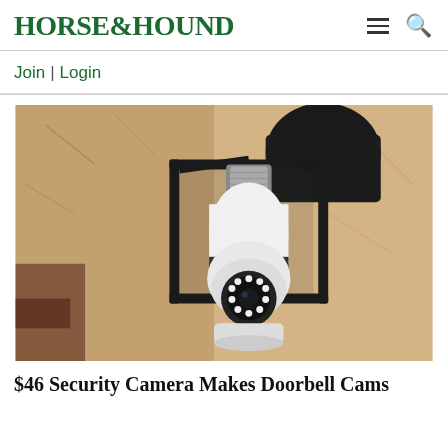HORSE&HOUND
Join | Login
[Figure (photo): A light-bulb shaped security camera mounted inside a black metal lantern fixture on a textured stucco wall. The camera has a round lens with LED lights at the bottom.]
$46 Security Camera Makes Doorbell Cams